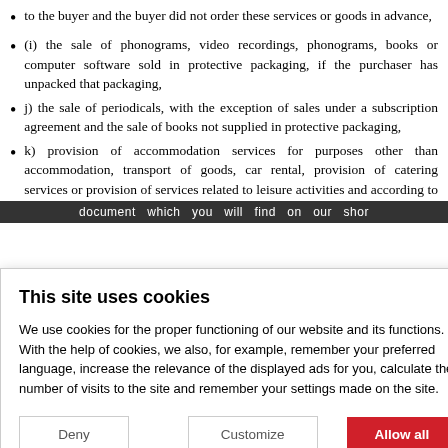to the buyer and the buyer did not order these services or goods in advance,
(i) the sale of phonograms, video recordings, phonograms, books or computer software sold in protective packaging, if the purchaser has unpacked that packaging,
j) the sale of periodicals, with the exception of sales under a subscription agreement and the sale of books not supplied in protective packaging,
k) provision of accommodation services for purposes other than accommodation, transport of goods, car rental, provision of catering services or provision of services related to leisure activities and according to which the seller
This site uses cookies
We use cookies for the proper functioning of our website and its functions. With the help of cookies, we also, for example, remember your preferred language, increase the relevance of the displayed ads for you, calculate the number of visits to the site and remember your settings made on the site.
Deny   Customize   Allow all
document   which   you   will   find   on   our   shor